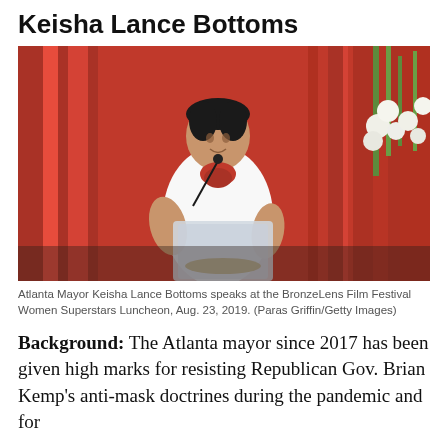Keisha Lance Bottoms
[Figure (photo): Atlanta Mayor Keisha Lance Bottoms speaking at a podium with a microphone in front of red curtains and a floral arrangement, wearing a white outfit with a red necklace.]
Atlanta Mayor Keisha Lance Bottoms speaks at the BronzeLens Film Festival Women Superstars Luncheon, Aug. 23, 2019. (Paras Griffin/Getty Images)
Background: The Atlanta mayor since 2017 has been given high marks for resisting Republican Gov. Brian Kemp's anti-mask doctrines during the pandemic and for